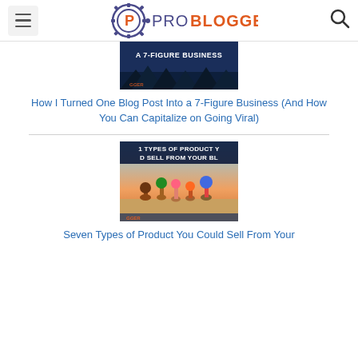ProBlogger
[Figure (screenshot): Blog post thumbnail image showing dark blue background with text 'A 7-FIGURE BUSINESS' and ProBlogger logo]
How I Turned One Blog Post Into a 7-Figure Business (And How You Can Capitalize on Going Viral)
[Figure (screenshot): Blog post thumbnail showing colorful clay figure stacks on sandy ground with text '1 TYPES OF PRODUCT Y D SELL FROM YOUR BL' and ProBlogger logo]
Seven Types of Product You Could Sell From Your